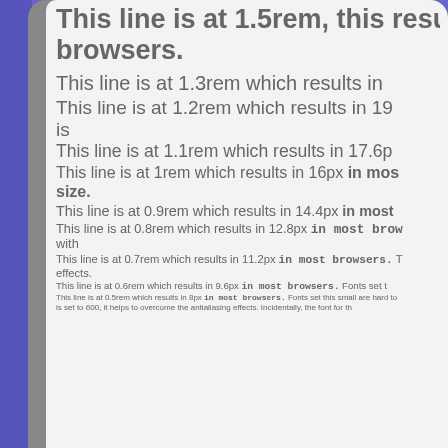This line is at 1.5rem, this result in most browsers.
This line is at 1.3rem which results in
This line is at 1.2rem which results in 19 is
This line is at 1.1rem which results in 17.6p
This line is at 1rem which results in 16px in most size.
This line is at 0.9rem which results in 14.4px in most
This line is at 0.8rem which results in 12.8px in most brow with
This line is at 0.7rem which results in 11.2px in most browsers. T effects.
This line is at 0.6rem which results in 9.6px in most browsers. Fonts set t
This line is at 0.5rem which results in 8px in most browsers. Fonts set this small are hard to is set to 600, it helps to overcome the antialiasing effects. Incidentally, the font for th